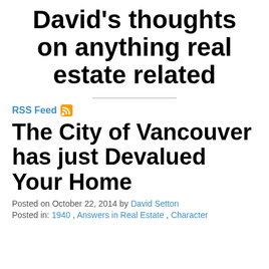David's thoughts on anything real estate related
RSS Feed
The City of Vancouver has just Devalued Your Home
Posted on October 22, 2014 by David Setton
Posted in: 1940 , Answers in Real Estate , Character